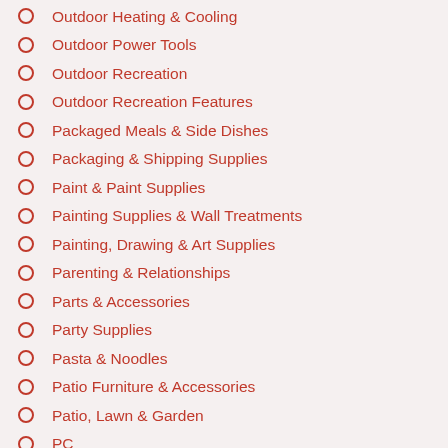Outdoor Heating & Cooling
Outdoor Power Tools
Outdoor Recreation
Outdoor Recreation Features
Packaged Meals & Side Dishes
Packaging & Shipping Supplies
Paint & Paint Supplies
Painting Supplies & Wall Treatments
Painting, Drawing & Art Supplies
Parenting & Relationships
Parts & Accessories
Party Supplies
Pasta & Noodles
Patio Furniture & Accessories
Patio, Lawn & Garden
PC